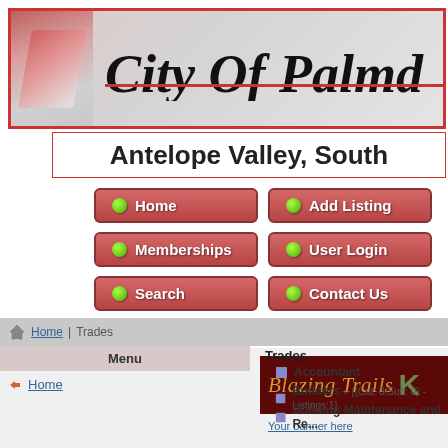[Figure (logo): City Of Palmdale header banner with decorative pink/grey background and red underline]
Antelope Valley, South
[Figure (screenshot): Navigation buttons: Home, Add Listing, Memberships, User Login, Search, Contact Us — pink/red rounded buttons with green dot icons]
Home | Trades
[Figure (logo): City Of Palmdale small banner logo]
[Figure (logo): Blazing Trails K banner on dark red background]
Your banner here
Trades
Accountant
Builders » [(Cat: 0/Sub: 0) - Listings:1]
Building Maintenance and Re...
Menu
Home